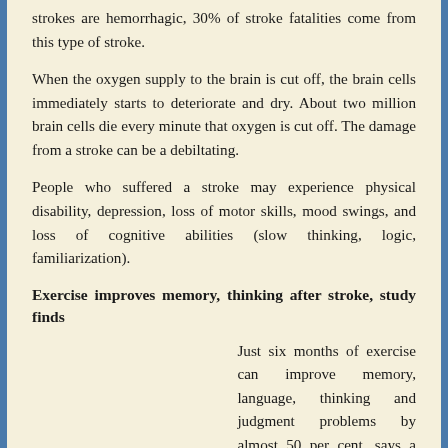strokes are hemorrhagic, 30% of stroke fatalities come from this type of stroke.
When the oxygen supply to the brain is cut off, the brain cells immediately starts to deteriorate and dry. About two million brain cells die every minute that oxygen is cut off. The damage from a stroke can be a debiltating.
People who suffered a stroke may experience physical disability, depression, loss of motor skills, mood swings, and loss of cognitive abilities (slow thinking, logic, familiarization).
Exercise improves memory, thinking after stroke, study finds
Just six months of exercise can improve memory, language, thinking and judgment problems by almost 50 per cent, says a study presented today at the Canadian Stroke